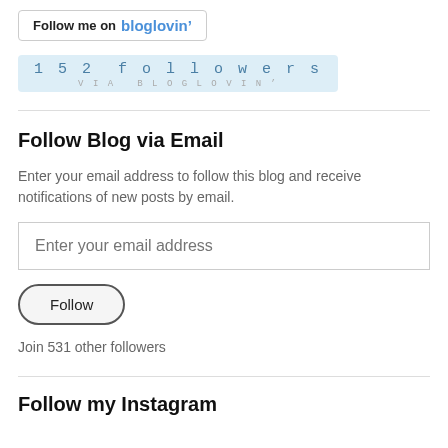[Figure (other): Follow me on bloglovin' button — white button with border, bold black text 'Follow me on' and blue brand text 'bloglovin\u2019']
[Figure (other): Bloglovin followers badge showing '152 followers' in monospace blue text on light blue background, with 'VIA BLOGLOVIN\u2019' below in small gray monospace text]
Follow Blog via Email
Enter your email address to follow this blog and receive notifications of new posts by email.
Enter your email address
Follow
Join 531 other followers
Follow my Instagram